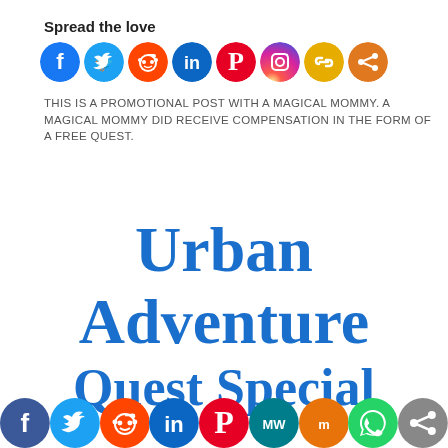Spread the love
[Figure (infographic): Row of social media share icons: Facebook (blue), Twitter (light blue), Reddit (orange-red), LinkedIn (blue), Pinterest (red), Instagram (gradient purple-orange), Chain/Copy link (yellow), Share (orange)]
THIS IS A PROMOTIONAL POST WITH A MAGICAL MOMMY. A MAGICAL MOMMY DID RECEIVE COMPENSATION IN THE FORM OF A FREE QUEST.
Urban Adventure Quest Special
[Figure (infographic): Row of social media share icons at bottom: Facebook (dark blue), Twitter (blue), Reddit (orange-red), LinkedIn (blue), Pinterest (red), MW (teal), Mix (orange), WhatsApp (green), Share (gray)]